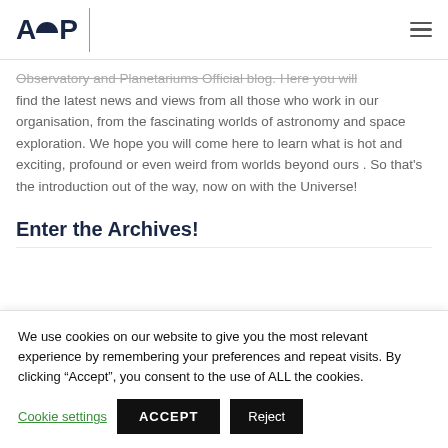AOP
Observatory and Planetariums Official blog. Here you will find the latest news and views from all those who work in our organisation, from the fascinating worlds of astronomy and space exploration. We hope you will come here to learn what is hot and exciting, profound or even weird from worlds beyond ours . So that's the introduction out of the way, now on with the Universe!
Enter the Archives!
We use cookies on our website to give you the most relevant experience by remembering your preferences and repeat visits. By clicking “Accept”, you consent to the use of ALL the cookies.
Cookie settings  ACCEPT  Reject